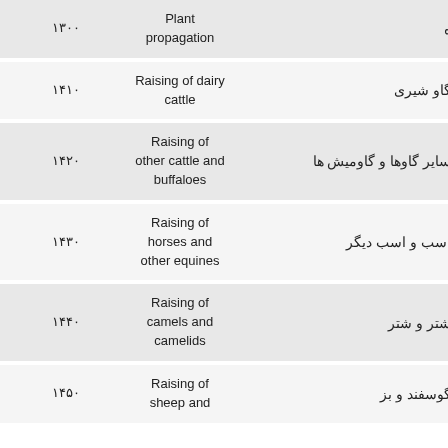| Code | English | Farsi |
| --- | --- | --- |
| ۱۳۰۰ | Plant propagation | تکثیر گیاه |
| ۱۴۱۰ | Raising of dairy cattle | پرورش گاو شیری |
| ۱۴۲۰ | Raising of other cattle and buffaloes | پرورش سایر گاوها و گاومیش ها |
| ۱۴۳۰ | Raising of horses and other equines | پرورش اسب و اسب دیگر |
| ۱۴۴۰ | Raising of camels and camelids | پرورش شتر و شتر |
| ۱۴۵۰ | Raising of sheep and | پرورش گوسفند و بز |